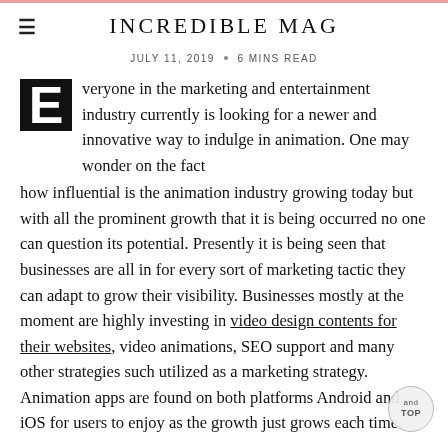INCREDIBLE MAG
JULY 11, 2019 · 6 MINS READ
Everyone in the marketing and entertainment industry currently is looking for a newer and innovative way to indulge in animation. One may wonder on the fact how influential is the animation industry growing today but with all the prominent growth that it is being occurred no one can question its potential. Presently it is being seen that businesses are all in for every sort of marketing tactic they can adapt to grow their visibility. Businesses mostly at the moment are highly investing in video design contents for their websites, video animations, SEO support and many other strategies such utilized as a marketing strategy. Animation apps are found on both platforms Android and iOS for users to enjoy as the growth just grows each time.